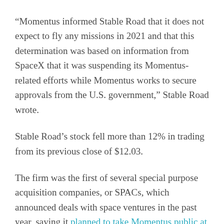“Momentus informed Stable Road that it does not expect to fly any missions in 2021 and that this determination was based on information from SpaceX that it was suspending its Momentus-related efforts while Momentus works to secure approvals from the U.S. government,” Stable Road wrote.
Stable Road’s stock fell more than 12% in trading from its previous close of $12.03.
The firm was the first of several special purpose acquisition companies, or SPACs, which announced deals with space ventures in the past year, saying it planned to take Momentus public at a $1.2 billion valuation. But Stable Road’s merger with Momentus has been bogged down this year, largely due to national security concerns